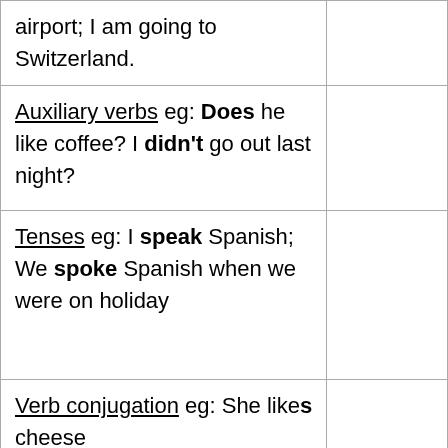| airport; I am going to Switzerland. |  |
| Auxiliary verbs eg: Does he like coffee? I didn't go out last night? |  |
| Tenses eg: I speak Spanish; We spoke Spanish when we were on holiday |  |
| Verb conjugation eg: She likes cheese |  |
| The passive eg: My bag was stolen |  |
| [partial row cut off] |  |